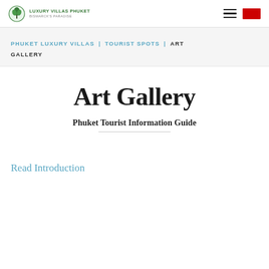Luxury Villas Phuket – Bismarck's Paradise
PHUKET LUXURY VILLAS | TOURIST SPOTS | ART GALLERY
Art Gallery
Phuket Tourist Information Guide
Read Introduction